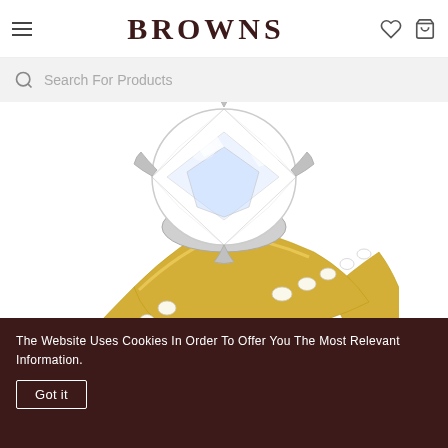BROWNS
Search For Products
[Figure (photo): A diamond engagement ring with a large round brilliant-cut diamond in a four-prong white gold setting, on a yellow gold band pavé-set with smaller diamonds along the shoulders.]
The Website Uses Cookies In Order To Offer You The Most Relevant Information. Got it